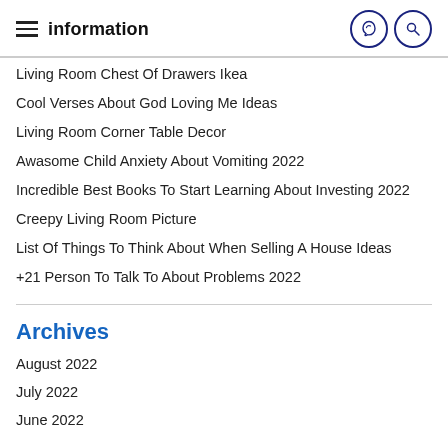information
Living Room Chest Of Drawers Ikea
Cool Verses About God Loving Me Ideas
Living Room Corner Table Decor
Awasome Child Anxiety About Vomiting 2022
Incredible Best Books To Start Learning About Investing 2022
Creepy Living Room Picture
List Of Things To Think About When Selling A House Ideas
+21 Person To Talk To About Problems 2022
Archives
August 2022
July 2022
June 2022